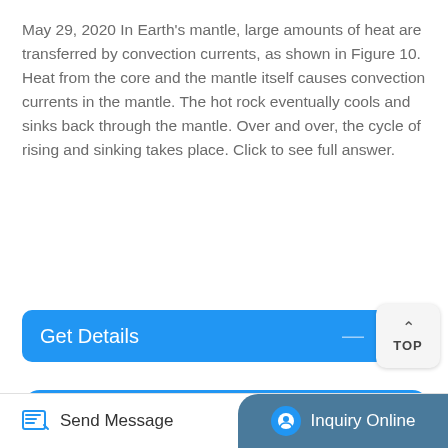May 29, 2020 In Earth's mantle, large amounts of heat are transferred by convection currents, as shown in Figure 10. Heat from the core and the mantle itself causes convection currents in the mantle. The hot rock eventually cools and sinks back through the mantle. Over and over, the cycle of rising and sinking takes place. Click to see full answer.
[Figure (screenshot): Blue rounded rectangle button labeled 'Get Details' with a dash on the right, and a separate white rounded square 'TOP' button with upward chevron]
[Figure (screenshot): Card box with blue rounded border and gray/beige interior, partially visible]
[Figure (screenshot): Bottom navigation bar with 'Send Message' on the left and 'Inquiry Online' button in dark blue-gray on the right]